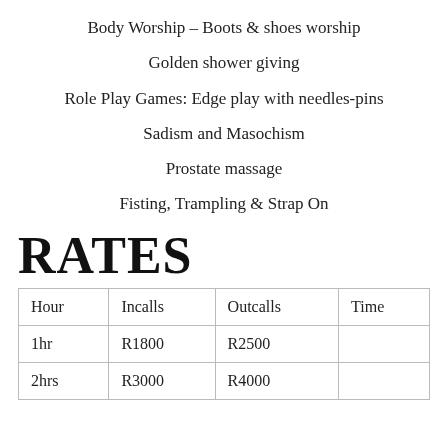Body Worship – Boots & shoes worship
Golden shower giving
Role Play Games: Edge play with needles-pins
Sadism and Masochism
Prostate massage
Fisting, Trampling  & Strap On
RATES
| Hour | Incalls | Outcalls | Time |
| --- | --- | --- | --- |
| 1hr | R1800 | R2500 |  |
| 2hrs | R3000 | R4000 |  |